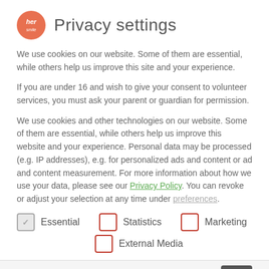Privacy settings
We use cookies on our website. Some of them are essential, while others help us improve this site and your experience.
If you are under 16 and wish to give your consent to volunteer services, you must ask your parent or guardian for permission.
We use cookies and other technologies on our website. Some of them are essential, while others help us improve this website and your experience. Personal data may be processed (e.g. IP addresses), e.g. for personalized ads and content or ad and content measurement. For more information about how we use your data, please see our Privacy Policy. You can revoke or adjust your selection at any time under preferences.
Essential (checked)
Statistics (unchecked)
Marketing (unchecked)
External Media (unchecked)
that the answers are fully formulated; these will generally be published as